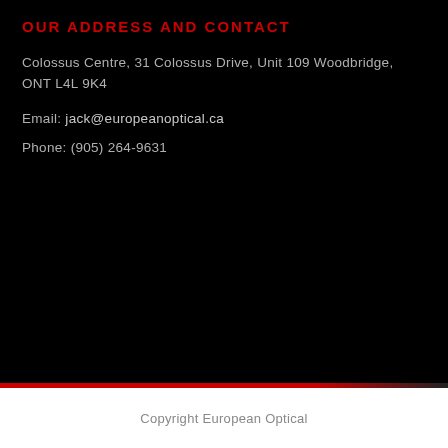OUR ADDRESS AND CONTACT
Colossus Centre, 31 Colossus Drive, Unit 109 Woodbridge, ONT L4L 9K4
Email: jack@europeanoptical.ca
Phone: (905) 264-9631
Copyright European Optical